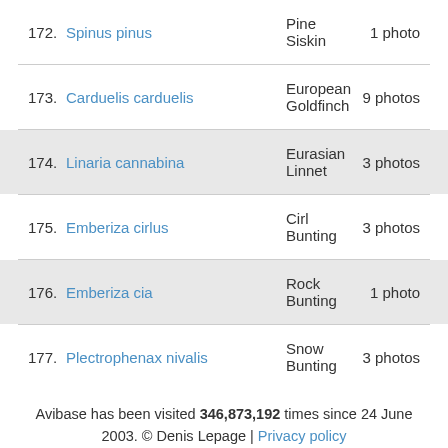172. Spinus pinus — Pine Siskin — 1 photo
173. Carduelis carduelis — European Goldfinch — 9 photos
174. Linaria cannabina — Eurasian Linnet — 3 photos
175. Emberiza cirlus — Cirl Bunting — 3 photos
176. Emberiza cia — Rock Bunting — 1 photo
177. Plectrophenax nivalis — Snow Bunting — 3 photos
Avibase has been visited 346,873,192 times since 24 June 2003. © Denis Lepage | Privacy policy
[Figure (logo): Birding Top 1000 badge showing ranking 0004]